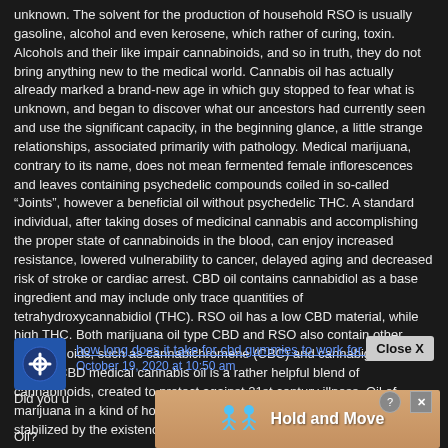unknown. The solvent for the production of household RSO is usually gasoline, alcohol and even kerosene, which rather of curing, toxin. Alcohols and their like impair cannabinoids, and so in truth, they do not bring anything new to the medical world. Cannabis oil has actually already marked a brand-new age in which guy stopped to fear what is unknown, and began to discover what our ancestors had currently seen and use the significant capacity, in the beginning glance, a little strange relationships, associated primarily with pathology. Medical marijuana, contrary to its name, does not mean fermented female inflorescences and leaves containing psychedelic compounds coiled in so-called “Joints”, however a beneficial oil without psychedelic THC. A standard individual, after taking doses of medicinal cannabis and accomplishing the proper state of cannabinoids in the blood, can enjoy increased resistance, lowered vulnerability to cancer, delayed aging and decreased risk of stroke or cardiac arrest. CBD oil contains cannabidiol as a base ingredient and may include only trace quantities of tetrahydroxycannabidiol (THC). RSO oil has a low CBD material, while high THC. Both marijuana oil type CBD and RSO also contain other cannabinoids, such as cannabichromene (CBC) and cannabigerol (CBG). CBD medical cannabis oil is a rather helpful blend of cannabinoids, created to protect against 21st century illness. Oil of marijuana in a kind of hobby APR includes little quantities of CBD, stabilized by the existence of THC.
how long does it take for cbd gummies to work for pain
October 19, 2020 at 10:50 am
Close X
Did you u... Hemp Oil? Cannabi... ction. The b...
[Figure (infographic): Ad overlay showing animated figures with text 'Hold and Move' on a sandy/tan background, with help and close buttons in top right corner]